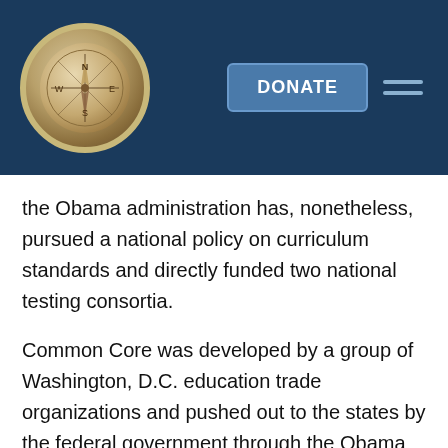[Figure (other): Website header with dark navy background, compass logo on left, DONATE button and hamburger menu icon on right]
the Obama administration has, nonetheless, pursued a national policy on curriculum standards and directly funded two national testing consortia.
Common Core was developed by a group of Washington, D.C. education trade organizations and pushed out to the states by the federal government through the Obama administration's Race to the Top (RttT) initiative, which gave out more than $4 billion in federal grants.